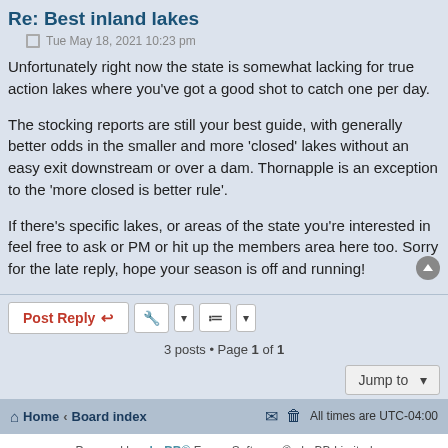Re: Best inland lakes
Tue May 18, 2021 10:23 pm
Unfortunately right now the state is somewhat lacking for true action lakes where you've got a good shot to catch one per day.
The stocking reports are still your best guide, with generally better odds in the smaller and more 'closed' lakes without an easy exit downstream or over a dam. Thornapple is an exception to the 'more closed is better rule'.
If there's specific lakes, or areas of the state you're interested in feel free to ask or PM or hit up the members area here too. Sorry for the late reply, hope your season is off and running!
Post Reply
3 posts • Page 1 of 1
Jump to
Home · Board index   All times are UTC-04:00
Powered by phpBB® Forum Software © phpBB Limited
Privacy | Terms